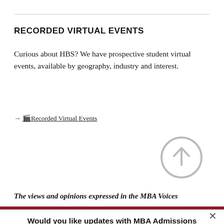RECORDED VIRTUAL EVENTS
Curious about HBS? We have prospective student virtual events, available by geography, industry and interest.
→ 🎬Recorded Virtual Events
[Figure (other): A circular arrow icon pointing upward (back-to-top button), rendered in light gray outline style]
The views and opinions expressed in the MBA Voices
Would you like updates with MBA Admissions news and events?
YES, PLEASE
NO THANKS